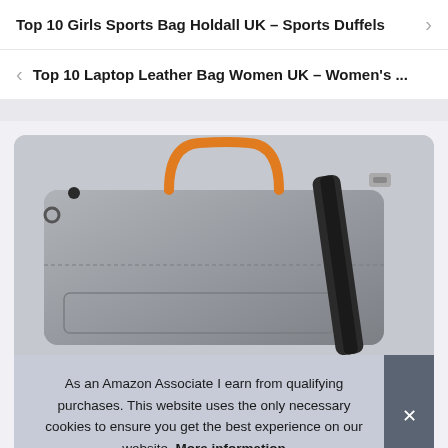Top 10 Girls Sports Bag Holdall UK – Sports Duffels >
< Top 10 Laptop Leather Bag Women UK – Women's ...
[Figure (photo): Gray laptop bag with orange handle and black shoulder strap]
As an Amazon Associate I earn from qualifying purchases. This website uses the only necessary cookies to ensure you get the best experience on our website. More information